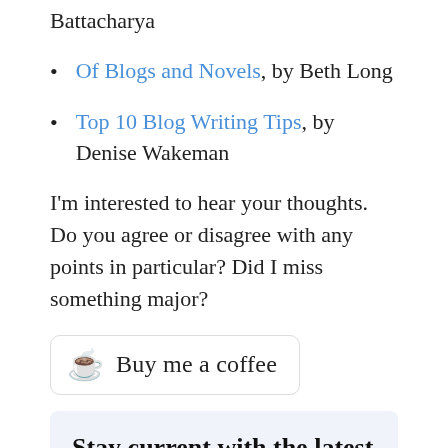Battacharya
Of Blogs and Novels, by Beth Long
Top 10 Blog Writing Tips, by Denise Wakeman
I’m interested to hear your thoughts. Do you agree or disagree with any points in particular? Did I miss something major?
[Figure (other): Buy me a coffee button with a coffee cup emoji icon]
Stay current with the latest in tech comm